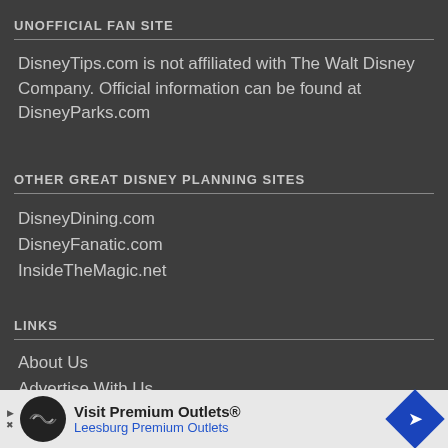UNOFFICIAL FAN SITE
DisneyTips.com is not affiliated with The Walt Disney Company. Official information can be found at DisneyParks.com
OTHER GREAT DISNEY PLANNING SITES
DisneyDining.com
DisneyFanatic.com
InsideTheMagic.net
LINKS
About Us
Advertise With Us
[Figure (infographic): Advertisement banner for Visit Premium Outlets - Leesburg Premium Outlets with logo and navigation icon]